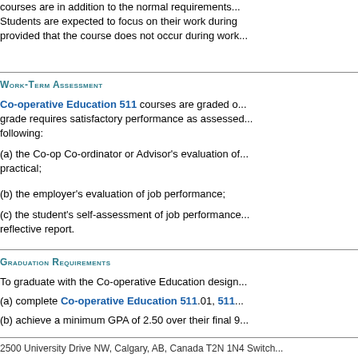courses are in addition to the normal requirements...
Students are expected to focus on their work during... provided that the course does not occur during work...
Work-Term Assessment
Co-operative Education 511 courses are graded o... grade requires satisfactory performance as assessed... following:
(a) the Co-op Co-ordinator or Advisor's evaluation of... practical;
(b) the employer's evaluation of job performance;
(c) the student's self-assessment of job performance... reflective report.
Graduation Requirements
To graduate with the Co-operative Education design...
(a) complete Co-operative Education 511.01, 511...
(b) achieve a minimum GPA of 2.50 over their final 9...
2500 University Drive NW, Calgary, AB, Canada T2N 1N4 Switch...